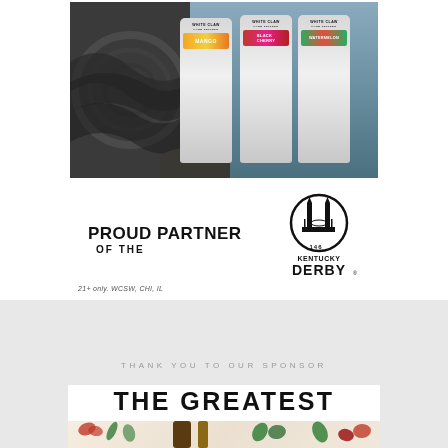[Figure (photo): White Claw Hard Seltzer advertisement showing three cans (Mango, Black Cherry, Watermelon) against a wave/ocean background]
PROUD PARTNER OF THE
[Figure (logo): Kentucky Derby 146 official logo - circular emblem with twin spires and text 'KENTUCKY 146 DERBY']
21+ only. WCSW, CHI, IL
THANK YOU TO OUR SPONSOR
THE GREATEST
[Figure (photo): Partial view of roses and botanical elements on light background - appears to be bottom portion of second advertisement]